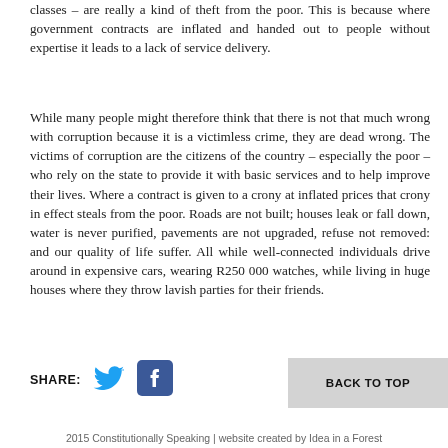classes – are really a kind of theft from the poor. This is because where government contracts are inflated and handed out to people without expertise it leads to a lack of service delivery.
While many people might therefore think that there is not that much wrong with corruption because it is a victimless crime, they are dead wrong. The victims of corruption are the citizens of the country – especially the poor – who rely on the state to provide it with basic services and to help improve their lives. Where a contract is given to a crony at inflated prices that crony in effect steals from the poor. Roads are not built; houses leak or fall down, water is never purified, pavements are not upgraded, refuse not removed: and our quality of life suffer. All while well-connected individuals drive around in expensive cars, wearing R250 000 watches, while living in huge houses where they throw lavish parties for their friends.
SHARE:
[Figure (illustration): Twitter bird icon]
[Figure (illustration): Facebook 'f' icon]
BACK TO TOP
2015 Constitutionally Speaking | website created by Idea in a Forest